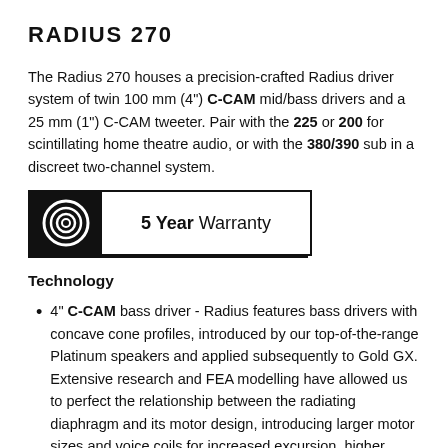RADIUS 270
The Radius 270 houses a precision-crafted Radius driver system of twin 100 mm (4") C-CAM mid/bass drivers and a 25 mm (1") C-CAM tweeter. Pair with the 225 or 200 for scintillating home theatre audio, or with the 380/390 sub in a discreet two-channel system.
[Figure (logo): 5 Year Warranty badge with circular logo on black background on left and text '5 Year Warranty' on right, inside a bordered rectangle]
Technology
4" C-CAM bass driver - Radius features bass drivers with concave cone profiles, introduced by our top-of-the-range Platinum speakers and applied subsequently to Gold GX. Extensive research and FEA modelling have allowed us to perfect the relationship between the radiating diaphragm and its motor design, introducing larger motor sizes and voice coils for increased excursion, higher power capability and reduced